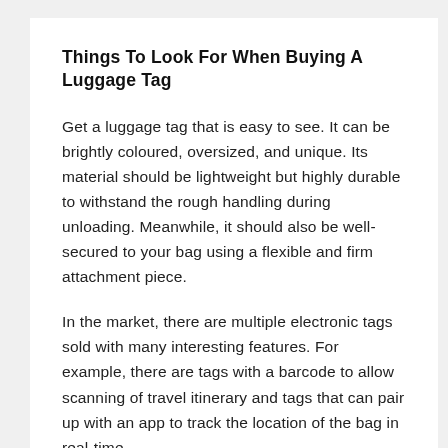Things To Look For When Buying A Luggage Tag
Get a luggage tag that is easy to see. It can be brightly coloured, oversized, and unique. Its material should be lightweight but highly durable to withstand the rough handling during unloading. Meanwhile, it should also be well-secured to your bag using a flexible and firm attachment piece.
In the market, there are multiple electronic tags sold with many interesting features. For example, there are tags with a barcode to allow scanning of travel itinerary and tags that can pair up with an app to track the location of the bag in real-time.
Lastly, keep in mind that your luggage tag